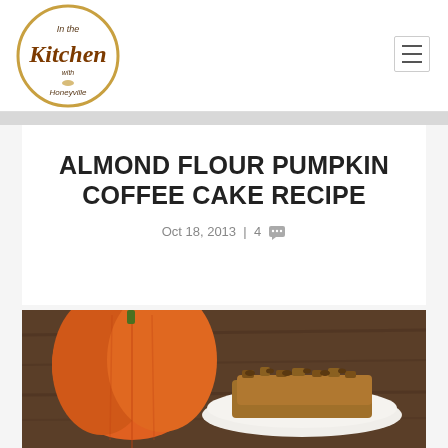[Figure (logo): In the Kitchen with Honeyville circular logo with script text]
ALMOND FLOUR PUMPKIN COFFEE CAKE RECIPE
Oct 18, 2013 | 4 [comments]
[Figure (photo): Photo of almond flour pumpkin coffee cake with pumpkin in background on wooden surface]